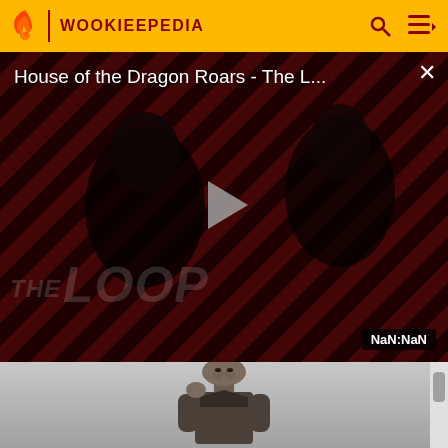WOOKIEEPEDIA
[Figure (screenshot): Video player showing 'House of the Dragon Roars - The L...' with diagonal red and black stripes background, two dark silhouetted figures, a play button in the center, 'THE LOOP' text watermark, and NaN:NaN duration badge]
[Figure (photo): 3D rendered character - a thin, bald humanoid figure with gaunt features, holding hand to chin in a thinking pose, wearing dark clothing, on a grey gradient background]